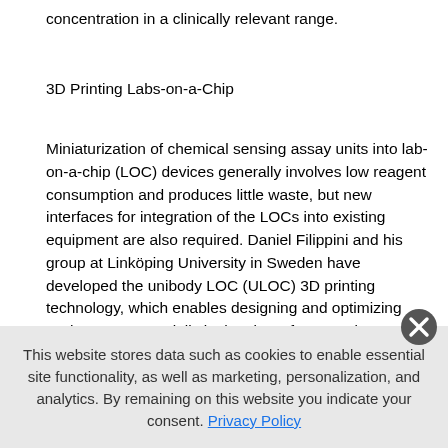concentration in a clinically relevant range.
3D Printing Labs-on-a-Chip
Miniaturization of chemical sensing assay units into lab-on-a-chip (LOC) devices generally involves low reagent consumption and produces little waste, but new interfaces for integration of the LOCs into existing equipment are also required. Daniel Filippini and his group at Linköping University in Sweden have developed the unibody LOC (ULOC) 3D printing technology, which enables designing and optimizing such LOCs, especially in the view of prototyping disposables for autonomous LOC use coupled with cell phones. As a colorimetric assay, they employed a regular enzymatic glucose test, using the pink dye resorufin as the product to be detected.
This website stores data such as cookies to enable essential site functionality, as well as marketing, personalization, and analytics. By remaining on this website you indicate your consent. Privacy Policy